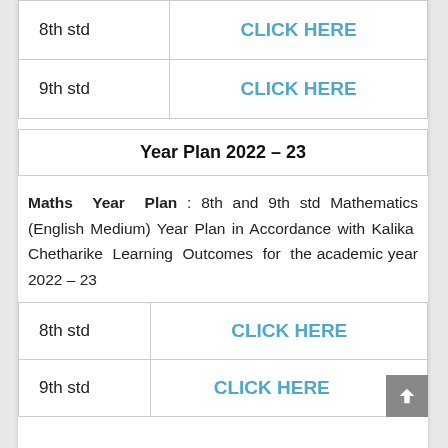|  |  |
| --- | --- |
| 8th std | CLICK HERE |
| 9th std | CLICK HERE |
| Year Plan 2022 – 23 |
| --- |
Maths Year Plan : 8th and 9th std Mathematics (English Medium) Year Plan in Accordance with Kalika Chetharike Learning Outcomes for the academic year 2022 – 23
|  |  |
| --- | --- |
| 8th std | CLICK HERE |
| 9th std | CLICK HERE |